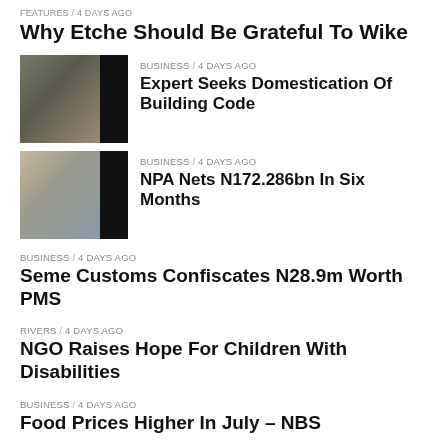FEATURES / 4 days ago
Why Etche Should Be Grateful To Wike
[Figure (photo): News article thumbnail photo showing people at an event]
BUSINESS / 4 days ago
Expert Seeks Domestication Of Building Code
[Figure (photo): News article thumbnail photo showing people shaking hands]
BUSINESS / 4 days ago
NPA Nets N172.286bn In Six Months
BUSINESS / 4 days ago
Seme Customs Confiscates N28.9m Worth PMS
RIVERS / 4 days ago
NGO Raises Hope For Children With Disabilities
BUSINESS / 4 days ago
Food Prices Higher In July – NBS